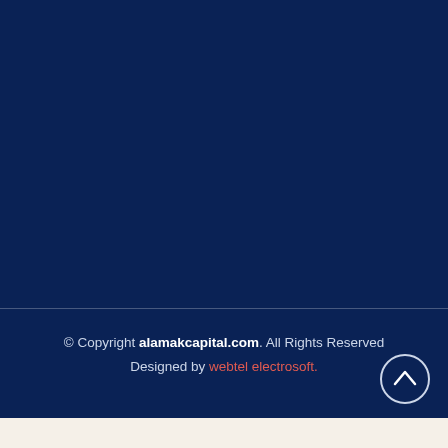© Copyright alamakcapital.com. All Rights Reserved
Designed by webtel electrosoft.